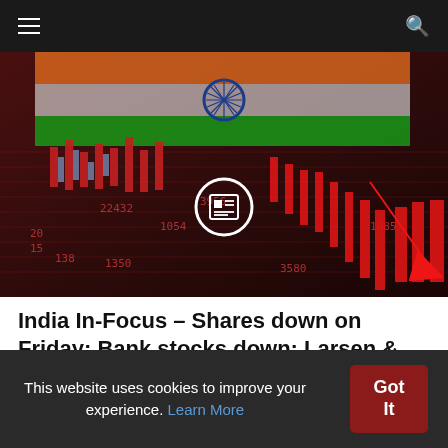≡  🔍
[Figure (photo): Stock market chart showing red candlesticks declining sharply with a downward red arrow, overlaid with the Indian flag (saffron, white with Ashoka Chakra, and green). A news/article icon is centered in a white circle overlay.]
India In-Focus – Shares down on Friday; Bank stocks down; Larsen & Toubro commissions green hydrogen plant
about 5 hours ago
This website uses cookies to improve your experience. Learn More
Got It